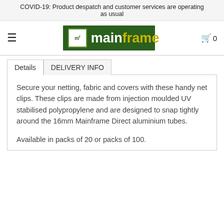COVID-19: Product despatch and customer services are operating as usual
[Figure (logo): Mainframe Direct logo: green rectangle with white 'mf' emblem and text 'mainframe' in white and yellow-green]
Details  DELIVERY INFO
Secure your netting, fabric and covers with these handy net clips. These clips are made from injection moulded UV stabilised polypropylene and are designed to snap tightly around the 16mm Mainframe Direct aluminium tubes.
Available in packs of 20 or packs of 100.